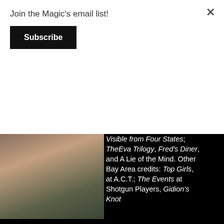Join the Magic's email list!
Subscribe
[Figure (photo): Headshot of a woman with long wavy blonde/brunette hair wearing a blue top, photographed against a dark outdoor background.]
Visible from Four States, TheEva Trilogy, Fred's Diner, and A Lie of the Mind. Other Bay Area credits: Top Girls, at A.C.T.; The Events at Shotgun Players, Gidion's Knot (extension) at Aurora Theatre. She has also appeared at SF Playhouse, Marin Theatre Company, Porchlight Theatre, TheatreFirst, Center Reperatory Company, Pacific Alliance Theatre, Actors Theatre of SF, First Person Singular, and PlayGround (where she is a company member). Film and TV credits include The Unbelievable Truth; Flesh and Bone; Law and Order and Law & Order: SVU. Julia was a founding member of the